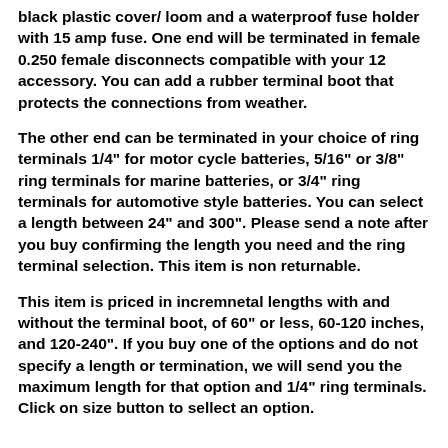black plastic cover/ loom and a waterproof fuse holder with 15 amp fuse. One end will be terminated in female 0.250 female disconnects compatible with your 12 accessory. You can add a rubber terminal boot that protects the connections from weather.
The other end can be terminated in your choice of ring terminals 1/4" for motor cycle batteries, 5/16" or 3/8" ring terminals for marine batteries, or 3/4" ring terminals for automotive style batteries. You can select a length between 24" and 300". Please send a note after you buy confirming the length you need and the ring terminal selection. This item is non returnable.
This item is priced in incremnetal lengths with and without the terminal boot, of 60" or less, 60-120 inches, and 120-240". If you buy one of the options and do not specify a length or termination, we will send you the maximum length for that option and 1/4" ring terminals. Click on size button to sellect an option.